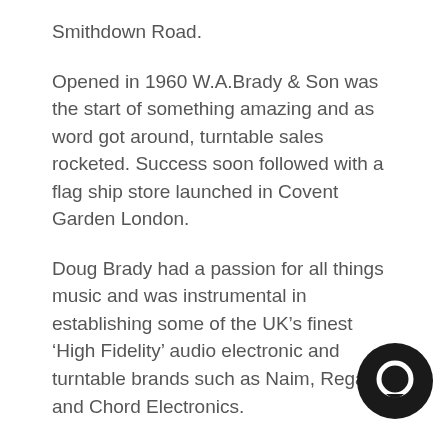Smithdown Road.
Opened in 1960 W.A.Brady & Son was the start of something amazing and as word got around, turntable sales rocketed. Success soon followed with a flag ship store launched in Covent Garden London.
Doug Brady had a passion for all things music and was instrumental in establishing some of the UK’s finest ‘High Fidelity’ audio electronic and turntable brands such as Naim, Rega and Chord Electronics.
In the early 1980’s the business moved to a more central location half way between Manchester and Liverpool at Kingsway North, Warrington, Ch… and that’s where we are based to this day.